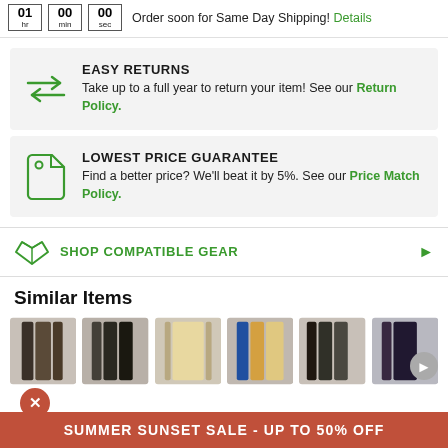Order soon for Same Day Shipping! Details
EASY RETURNS
Take up to a full year to return your item! See our Return Policy.
LOWEST PRICE GUARANTEE
Find a better price? We'll beat it by 5%. See our Price Match Policy.
SHOP COMPATIBLE GEAR
Similar Items
SUMMER SUNSET SALE - UP TO 50% OFF